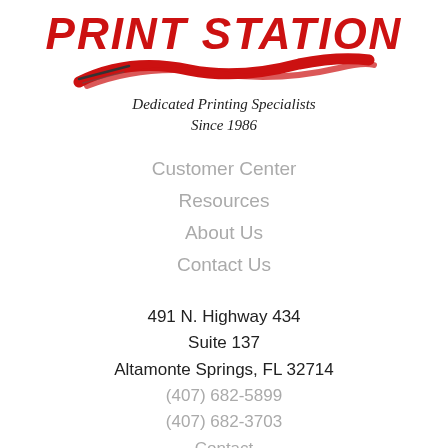[Figure (logo): Print Station company logo with red italic bold text 'PRINT STATION', a red swoosh/brush stroke graphic beneath, and tagline 'Dedicated Printing Specialists Since 1986' in serif italic.]
Customer Center
Resources
About Us
Contact Us
491 N. Highway 434
Suite 137
Altamonte Springs, FL 32714
(407) 682-5899
(407) 682-3703
Contact
8:30-5:30 Monday-Friday